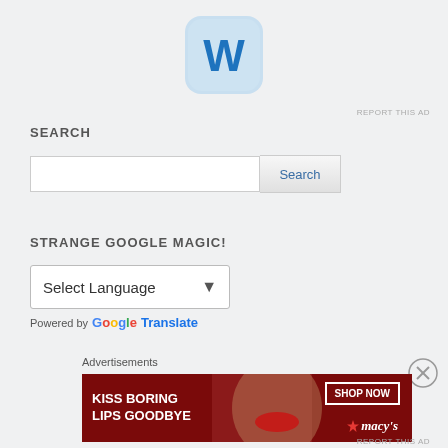[Figure (logo): WordPress logo icon – blue W on light blue rounded square background]
REPORT THIS AD
SEARCH
[Figure (other): Search bar with text input and Search button]
STRANGE GOOGLE MAGIC!
[Figure (other): Google Translate widget with Select Language dropdown]
Powered by Google Translate
[Figure (other): Close X circle button]
Advertisements
[Figure (other): Macy's advertisement banner: KISS BORING LIPS GOODBYE with SHOP NOW button and Macy's star logo on dark red background]
REPORT THIS AD